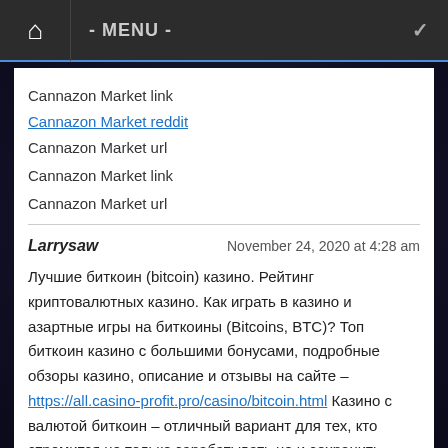- MENU -
Cannazon Market link
Cannazon Market reddit
Cannazon Market url
Cannazon Market link
Cannazon Market url
Larrysaw  November 24, 2020 at 4:28 am
Лучшие биткоин (bitcoin) казино. Рейтинг криптовалютных казино. Как играть в казино и азартные игры на биткоины (Bitcoins, BTC)? Топ биткоин казино с большими бонусами, подробные обзоры казино, описание и отзывы на сайте – https://all.casino-profit.pro/casino/bitcoin.html Казино с валютой биткоин – отличный вариант для тех, кто стремится не только зарабатывать но и сохранить анонимность!